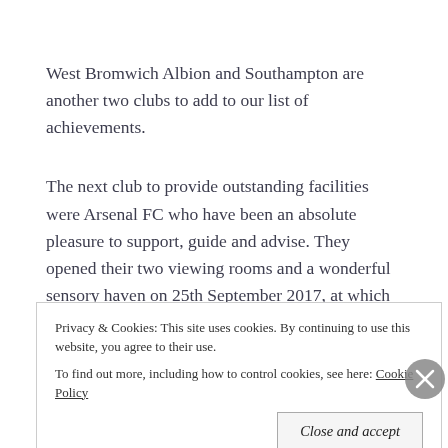West Bromwich Albion and Southampton are another two clubs to add to our list of achievements.
The next club to provide outstanding facilities were Arsenal FC who have been an absolute pleasure to support, guide and advise. They opened their two viewing rooms and a wonderful sensory haven on 25th September 2017, at which we were
Privacy & Cookies: This site uses cookies. By continuing to use this website, you agree to their use.
To find out more, including how to control cookies, see here: Cookie Policy
HIDETHISTAG